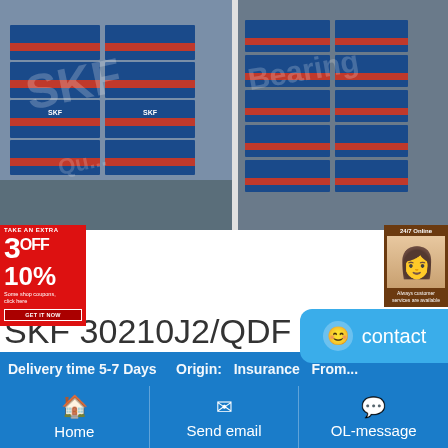[Figure (photo): Two warehouse photos showing stacked SKF and FAG bearing boxes in red and blue packaging on shelves/pallets]
SKF 30210J2/QDF bearing description
SKF 30210J2/QDF Bearing. GBS Bearing Limited is a leading supplier of superior quality ball bearings and roller bearings, we are all major premium brands quality bearings distributor of SKF bearings,FAG bearings,TIMKEN bearings etc.
Home | Send email | OL-message